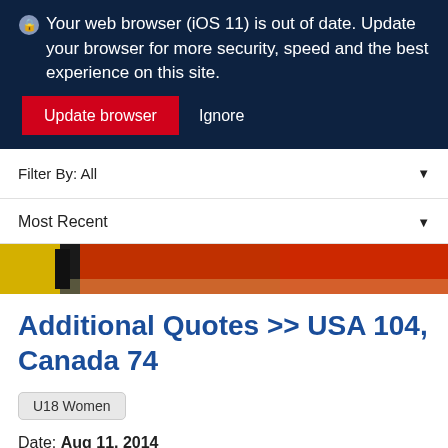Your web browser (iOS 11) is out of date. Update your browser for more security, speed and the best experience on this site. Update browser  Ignore
Filter By: All
Most Recent
[Figure (photo): Partial photo strip showing red and yellow colors, likely a sports game photograph]
Additional Quotes >> USA 104, Canada 74
U18 Women
Date: Aug 11, 2014
VIEW FULL STORY ▸